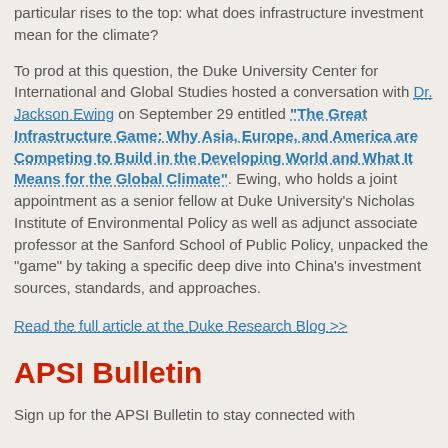particular rises to the top: what does infrastructure investment mean for the climate?

To prod at this question, the Duke University Center for International and Global Studies hosted a conversation with Dr. Jackson Ewing on September 29 entitled “The Great Infrastructure Game: Why Asia, Europe, and America are Competing to Build in the Developing World and What It Means for the Global Climate”. Ewing, who holds a joint appointment as a senior fellow at Duke University’s Nicholas Institute of Environmental Policy as well as adjunct associate professor at the Sanford School of Public Policy, unpacked the “game” by taking a specific deep dive into China’s investment sources, standards, and approaches.
Read the full article at the Duke Research Blog >>
APSI Bulletin
Sign up for the APSI Bulletin to stay connected with